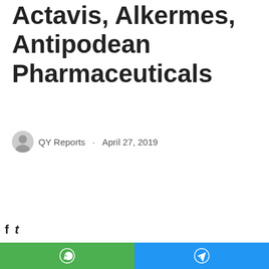Actavis, Alkermes, Antipodean Pharmaceuticals
QY Reports · April 27, 2019
[Figure (other): Social media share buttons: WhatsApp (green) and Telegram (blue) at bottom of page]